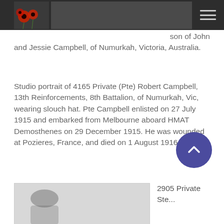[Navigation header with logo and menu]
son of John and Jessie Campbell, of Numurkah, Victoria, Australia.
Studio portrait of 4165 Private (Pte) Robert Campbell, 13th Reinforcements, 8th Battalion, of Numurkah, Vic, wearing slouch hat. Pte Campbell enlisted on 27 July 1915 and embarked from Melbourne aboard HMAT Demosthenes on 29 December 1915. He was wounded at Pozieres, France, and died on 1 August 1916.
[Figure (photo): Partial portrait photo at bottom of page]
2905 Private